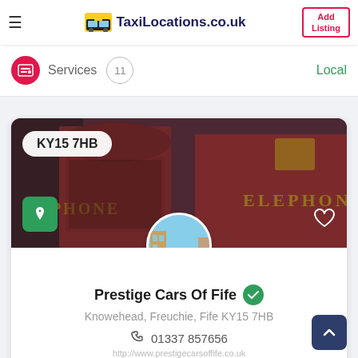TaxiLocations.co.uk — Add Listing
Services  11  Local
[Figure (photo): Red British telephone box photo used as hero banner with postcode badge KY15 7HB]
[Figure (photo): Circular avatar showing a London street scene with red bus]
Prestige Cars Of Fife
Knowehead, Freuchie, Fife KY15 7HB
01337 857656
http://www.prestigecarsoffife.co.uk